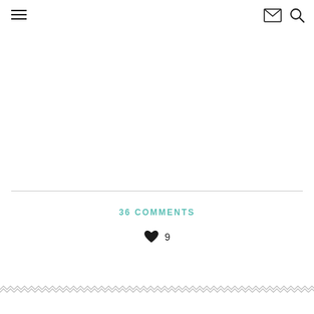Navigation header with hamburger menu, mail icon, and search icon
36 COMMENTS
♥ 9
[Figure (illustration): Decorative zigzag/chevron border pattern at bottom of page]